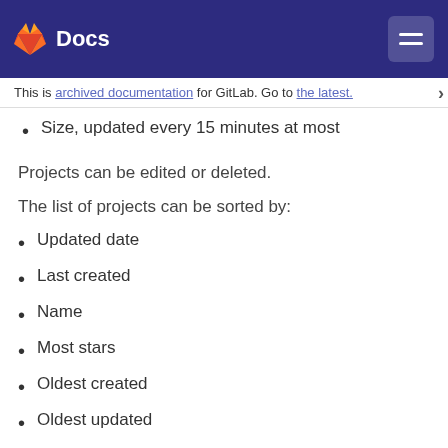Docs
This is archived documentation for GitLab. Go to the latest.
Size, updated every 15 minutes at most
Projects can be edited or deleted.
The list of projects can be sorted by:
Updated date
Last created
Name
Most stars
Oldest created
Oldest updated
Largest repository
A user can choose to hide or show archived projects in the